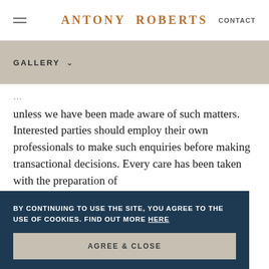ANTONY ROBERTS | CONTACT
GALLERY ∨
unless we have been made aware of such matters. Interested parties should employ their own professionals to make such enquiries before making transactional decisions. Every care has been taken with the preparation of
BY CONTINUING TO USE THE SITE, YOU AGREE TO THE USE OF COOKIES. FIND OUT MORE HERE
AGREE & CLOSE